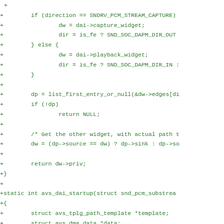Code diff showing C source additions for avs_dai_startup function and related widget/direction logic